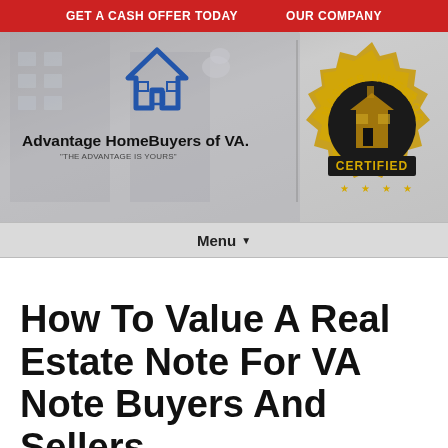GET A CASH OFFER TODAY   OUR COMPANY
[Figure (logo): Advantage HomeBuyers of VA. logo with blue chevron/house icon and tagline 'THE ADVANTAGE IS YOURS', alongside a gold Master Investor Certified badge seal]
Menu ▾
How To Value A Real Estate Note For VA Note Buyers And Sellers
November 5, 2019